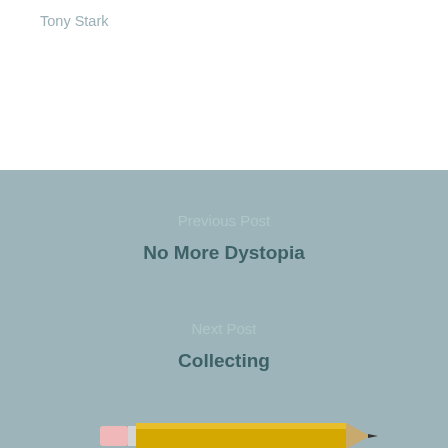Tony Stark
Previous Post
No More Dystopia
Next Post
Collecting
[Figure (illustration): A yellow pencil illustration with pink eraser on the left and dark tip on the right, shown horizontally]
13 thoughts on “Tony Stark: Iron Man”
JesusChristfollower says:
February 12, 2016 at 3:14 pm